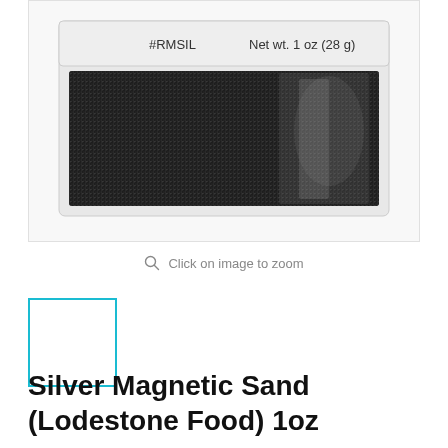[Figure (photo): Product photo of a clear plastic bag of silver/black magnetic sand (lodestone food) labeled #RMSIL, Net wt. 1 oz (28 g)]
Click on image to zoom
[Figure (photo): Small thumbnail image of the product with cyan/teal border highlight]
Silver Magnetic Sand (Lodestone Food) 1oz